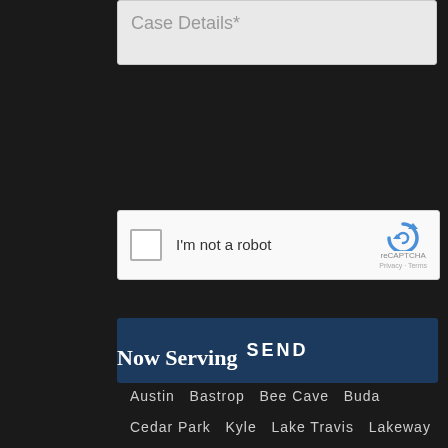Case Details*
[Figure (screenshot): reCAPTCHA widget with checkbox labeled 'I'm not a robot' and reCAPTCHA logo with Privacy and Terms links]
SEND
Now Serving
Austin  Bastrop  Bee Cave  Buda
Cedar Park  Kyle  Lake Travis  Lakeway